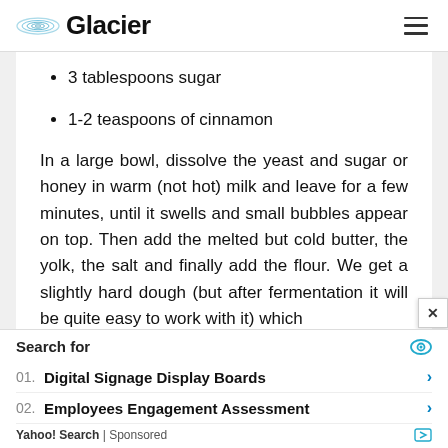Glacier
3 tablespoons sugar
1-2 teaspoons of cinnamon
In a large bowl, dissolve the yeast and sugar or honey in warm (not hot) milk and leave for a few minutes, until it swells and small bubbles appear on top. Then add the melted but cold butter, the yolk, the salt and finally add the flour. We get a slightly hard dough (but after fermentation it will be quite easy to work with it) which
Search for
01. Digital Signage Display Boards
02. Employees Engagement Assessment
Yahoo! Search | Sponsored